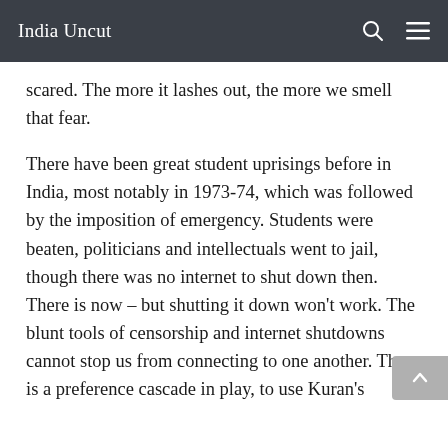India Uncut
scared. The more it lashes out, the more we smell that fear.
There have been great student uprisings before in India, most notably in 1973-74, which was followed by the imposition of emergency. Students were beaten, politicians and intellectuals went to jail, though there was no internet to shut down then. There is now – but shutting it down won’t work. The blunt tools of censorship and internet shutdowns cannot stop us from connecting to one another. There is a preference cascade in play, to use Kuran’s